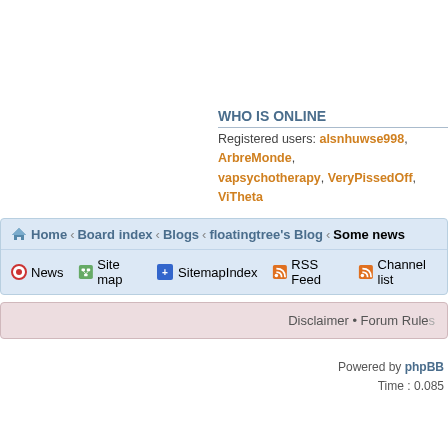WHO IS ONLINE
Registered users: alsnhuwse998, ArbreMonde, vapsychotherapy, VeryPissedOff, ViTheta
Home ‹ Board index ‹ Blogs ‹ floatingtree's Blog ‹ Some news
News  Site map  SitemapIndex  RSS Feed  Channel list
Disclaimer • Forum Rule
Powered by phpBB
Time : 0.085